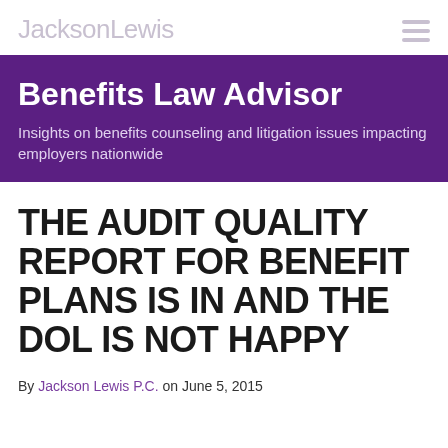JacksonLewis
Benefits Law Advisor
Insights on benefits counseling and litigation issues impacting employers nationwide
THE AUDIT QUALITY REPORT FOR BENEFIT PLANS IS IN AND THE DOL IS NOT HAPPY
By Jackson Lewis P.C. on June 5, 2015